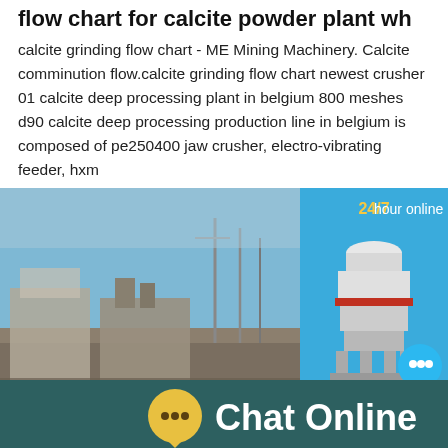flow chart for calcite powder plant wh
calcite grinding flow chart - ME Mining Machinery. Calcite comminution flow.calcite grinding flow chart newest crusher 01 calcite deep processing plant in belgium 800 meshes d90 calcite deep processing production line in belgium is composed of pe250400 jaw crusher, electro-vibrating feeder, hxm
[Figure (photo): Outdoor industrial calcite/mining plant facility with machinery structures, cranes in background under blue sky]
[Figure (infographic): 24/7 hour online chat widget showing a white cone crusher machine on blue background with a chat bubble icon and 'Click me to chat>>' button]
[Figure (infographic): Dark teal footer bar with yellow speech bubble chat icon and 'Chat Online' text in white]